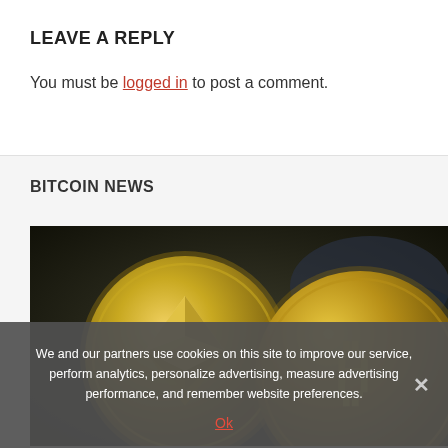LEAVE A REPLY
You must be logged in to post a comment.
BITCOIN NEWS
[Figure (photo): Two gold cryptocurrency coins — an Ethereum coin (left) and a Bitcoin coin (right) — on a dark blurred background.]
We and our partners use cookies on this site to improve our service, perform analytics, personalize advertising, measure advertising performance, and remember website preferences.
Ok